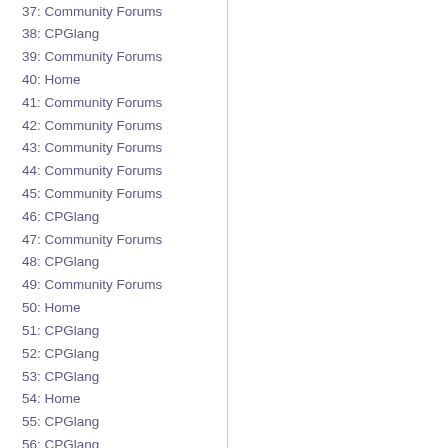37: Community Forums
38: CPGlang
39: Community Forums
40: Home
41: Community Forums
42: Community Forums
43: Community Forums
44: Community Forums
45: Community Forums
46: CPGlang
47: Community Forums
48: CPGlang
49: Community Forums
50: Home
51: CPGlang
52: CPGlang
53: CPGlang
54: Home
55: CPGlang
56: CPGlang
57: Community Forums
58: Home
59: Community Forums
60: Home
61: CPGlang